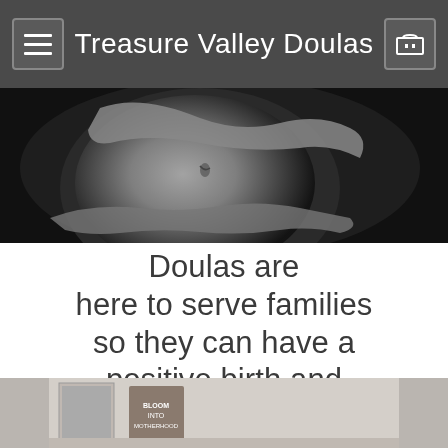Treasure Valley Doulas
[Figure (photo): Black and white close-up photo of pregnant belly being cradled by hands]
Doulas are here to serve families so they can have a positive birth and postpartum experience.
[Figure (photo): Partial view of a desk or shelf with a book titled 'Bloom Into Motherhood' and framed photo]